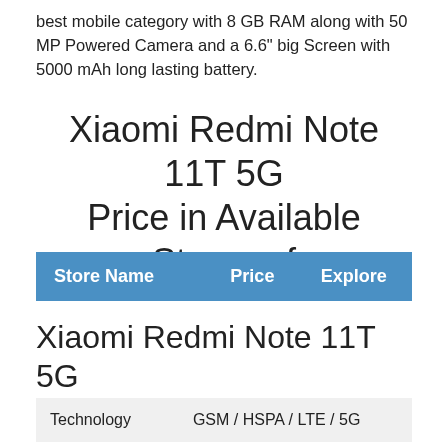best mobile category with 8 GB RAM along with 50 MP Powered Camera and a 6.6" big Screen with 5000 mAh long lasting battery.
Xiaomi Redmi Note 11T 5G Price in Available Stores of
| Store Name | Price | Explore |
| --- | --- | --- |
Xiaomi Redmi Note 11T 5G Detailed Features and Specs.
| Technology | GSM / HSPA / LTE / 5G |
| Annouced | 2021, November 30 |